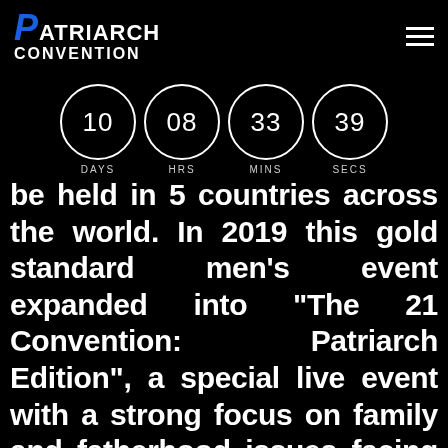PATRIARCH CONVENTION
[Figure (infographic): Countdown timer showing 10 DAYS, 08 HRS, 33 MINS, 39 SECS in circular dials on black background]
be held in 5 countries across the world. In 2019 this gold standard men's event expanded into "The 21 Convention: Patriarch Edition", a special live event with a strong focus on family and fatherhood issues facing men today. Now in it's 4th consecutive year this event is known as The Patriarch Convention. A unique 4 day